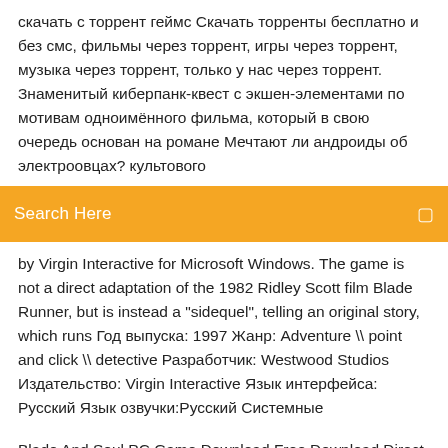скачать с торрент геймс Скачать торренты бесплатно и без смс, фильмы через торрент, игры через торрент, музыка через торрент, только у нас через торрент. Знаменитый киберпанк-квест с экшен-элементами по мотивам одноимённого фильма, который в свою очередь основан на романе Мечтают ли андроиды об электроовцах? культового
Search Here
by Virgin Interactive for Microsoft Windows. The game is not a direct adaptation of the 1982 Ridley Scott film Blade Runner, but is instead a "sidequel", telling an original story, which runs Год выпуска: 1997 Жанр: Adventure \\ point and click \\ detective Разработчик: Westwood Studios Издательство: Virgin Interactive Язык интерфейса: Русский Язык озвучки:Русский Системные
Blade And Soul PC Game Download Free Download Direct in single link with a high-speed download link for windows 7, 8 and